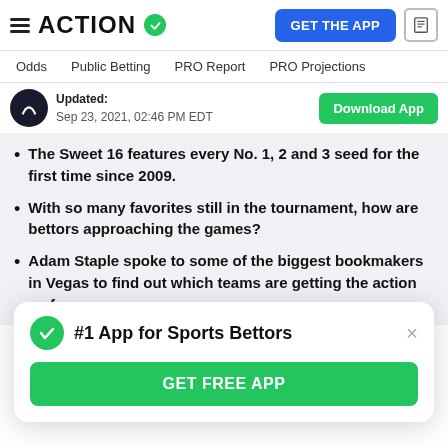ACTION (logo with checkmark) | GET THE APP
Odds | Public Betting | PRO Report | PRO Projections
Updated: Sep 23, 2021, 02:46 PM EDT | Download App
The Sweet 16 features every No. 1, 2 and 3 seed for the first time since 2009.
With so many favorites still in the tournament, how are bettors approaching the games?
Adam Staple spoke to some of the biggest bookmakers in Vegas to find out which teams are getting the action so far.
#1 App for Sports Bettors | GET FREE APP